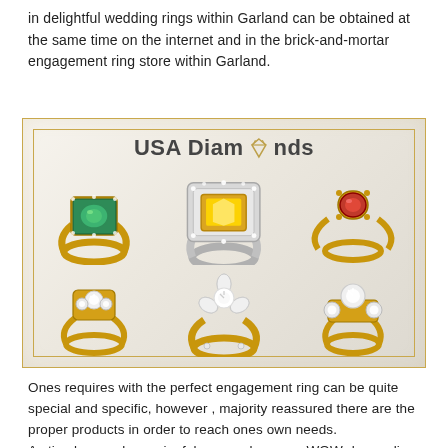in delightful wedding rings within Garland can be obtained at the same time on the internet and in the brick-and-mortar engagement ring store within Garland.
[Figure (illustration): USA Diamonds branded image showing six engagement/wedding rings arranged in two rows of three. Top row: gold ring with emerald halo, silver halo ring with yellow center stone, gold ring with ruby. Bottom row: gold ring with diamond cluster, gold solitaire ring with flower diamond cluster, gold three-stone ring. Gold double-border frame surrounds the image with 'USA Diamonds' title and diamond logo at top center.]
Ones requires with the perfect engagement ring can be quite special and specific, however , majority reassured there are the proper products in order to reach ones own needs.
As timeless and meaningful as your love, our WOW-demanding collection of splendid old style, retro, custom-made,